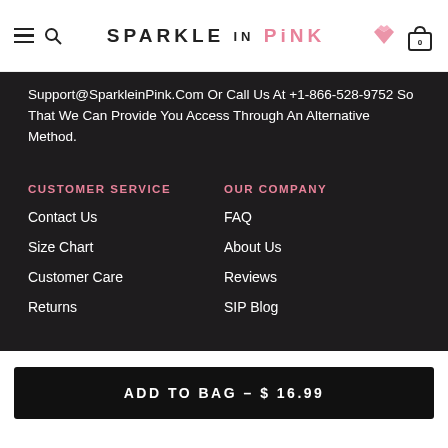SPARKLE IN PINK
Support@SparkleinPink.Com Or Call Us At +1-866-528-9752 So That We Can Provide You Access Through An Alternative Method.
CUSTOMER SERVICE
Contact Us
Size Chart
Customer Care
Returns
OUR COMPANY
FAQ
About Us
Reviews
SIP Blog
ADD TO BAG – $ 16.99